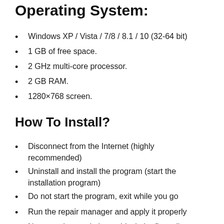Operating System:
Windows XP / Vista / 7/8 / 8.1 / 10 (32-64 bit)
1 GB of free space.
2 GHz multi-core processor.
2 GB RAM.
1280×768 screen.
How To Install?
Disconnect from the Internet (highly recommended)
Uninstall and install the program (start the installation program)
Do not start the program, exit while you go
Run the repair manager and apply it properly
Never update and always block the firewall
Serial Key: